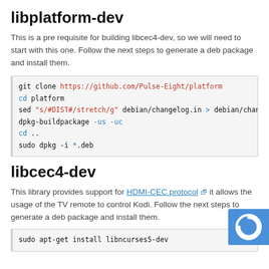libplatform-dev
This is a pre requisite for building libcec4-dev, so we will need to start with this one. Follow the next steps to generate a deb package and install them.
git clone https://github.com/Pulse-Eight/platform
cd platform
sed "s/#DIST#/stretch/g" debian/changelog.in > debian/changelog
dpkg-buildpackage -us -uc
cd ..
sudo dpkg -i *.deb
libcec4-dev
This library provides support for HDMI-CEC protocol it allows the usage of the TV remote to control Kodi. Follow the next steps to generate a deb package and install them.
sudo apt-get install libncurses5-dev